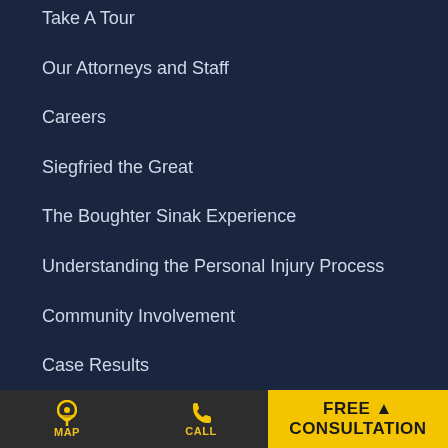Take A Tour
Our Attorneys and Staff
Careers
Siegfried the Great
The Boughter Sinak Experience
Understanding the Personal Injury Process
Community Involvement
Case Results
MAP  CALL  FREE CONSULTATION